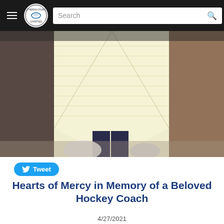Lutheran Church Charities — Search bar navigation
[Figure (photo): A person holding up a large cream/yellow crocheted prayer shawl spread wide, standing indoors in front of wooden cabinets, with a white plastic bag on the floor in front of them.]
Tweet
Hearts of Mercy in Memory of a Beloved Hockey Coach
4/27/2021